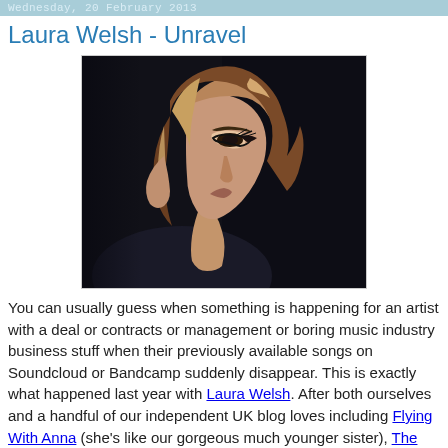Wednesday, 20 February 2013
Laura Welsh - Unravel
[Figure (photo): Profile portrait of a young woman with auburn/blonde hair pulled back, looking downward, with dramatic eye makeup, against a dark background.]
You can usually guess when something is happening for an artist with a deal or contracts or management or boring music industry business stuff when their previously available songs on Soundcloud or Bandcamp suddenly disappear. This is exactly what happened last year with Laura Welsh. After both ourselves and a handful of our independent UK blog loves including Flying With Anna (she's like our gorgeous much younger sister), The Von Pip Musical Express (our funnier, wittier but grumpier brother), The Blue Walrus (our cousin that we've never met) all started getting